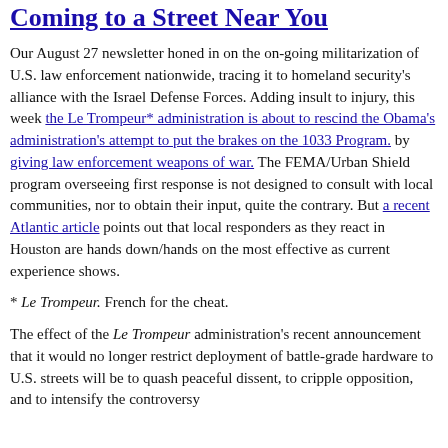Coming to a Street Near You
Our August 27 newsletter honed in on the on-going militarization of U.S. law enforcement nationwide, tracing it to homeland security's alliance with the Israel Defense Forces. Adding insult to injury, this week the Le Trompeur* administration is about to rescind the Obama's administration's attempt to put the brakes on the 1033 Program. by giving law enforcement weapons of war. The FEMA/Urban Shield program overseeing first response is not designed to consult with local communities, nor to obtain their input, quite the contrary. But a recent Atlantic article points out that local responders as they react in Houston are hands down/hands on the most effective as current experience shows.
* Le Trompeur. French for the cheat.
The effect of the Le Trompeur administration's recent announcement that it would no longer restrict deployment of battle-grade hardware to U.S. streets will be to quash peaceful dissent, to cripple opposition, and to intensify the controversy